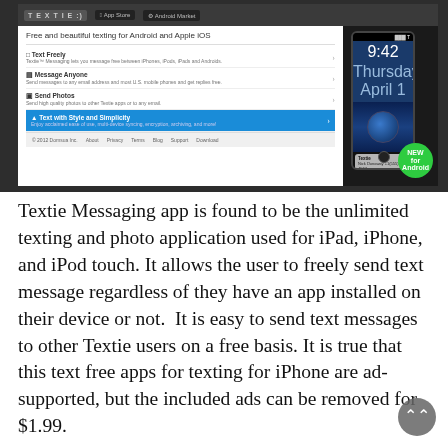[Figure (screenshot): Screenshot of the Textie messaging app showing the app store listing page with features including Text Freely, Message Anyone, Send Photos, and Text with Style and Simplicity. Also shows an iPhone with a lock screen displaying 9:42 time and a notification. A green badge reads NEW for Android.]
Textie Messaging app is found to be the unlimited texting and photo application used for iPad, iPhone, and iPod touch. It allows the user to freely send text message regardless of they have an app installed on their device or not.  It is easy to send text messages to other Textie users on a free basis. It is true that this text free apps for texting for iPhone are ad-supported, but the included ads can be removed for $1.99.